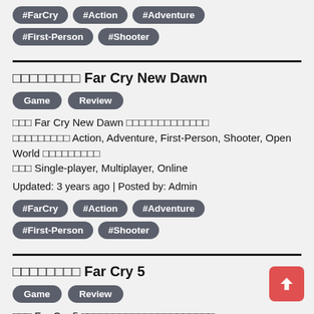#FarCry #Action #Adventure #First-Person #Shooter
□□□□□□□□ Far Cry New Dawn
Game Review
□□□ Far Cry New Dawn □□□□□□□□□□□□□ □□□□□□□□□ Action, Adventure, First-Person, Shooter, Open World □□□□□□□□□ □□□ Single-player, Multiplayer, Online
Updated: 3 years ago | Posted by: Admin
#FarCry #Action #Adventure #First-Person #Shooter
□□□□□□□□ Far Cry 5
Game Review
□□□ Far Cry 5 □□□□□□□□□□□□□□□□□□□□□